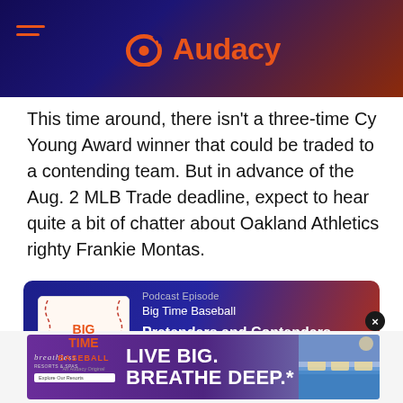Audacy
This time around, there isn't a three-time Cy Young Award winner that could be traded to a contending team. But in advance of the Aug. 2 MLB Trade deadline, expect to hear quite a bit of chatter about Oakland Athletics righty Frankie Montas.
[Figure (infographic): Podcast episode card for Big Time Baseball - Pretenders and Contenders (6/20) with Listen Now button]
[Figure (infographic): Advertisement for Breathless Resorts with text LIVE BIG. BREATHE DEEP.]